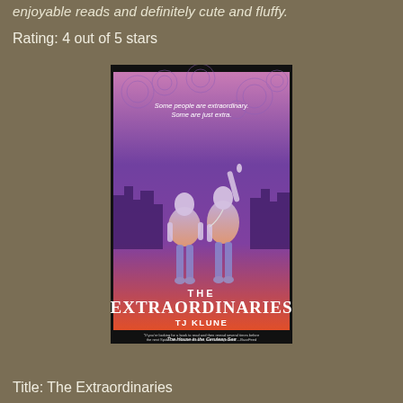enjoyable reads and definitely cute and fluffy.
Rating: 4 out of 5 stars
[Figure (illustration): Book cover of 'The Extraordinaries' by TJ Klune. Features two young men on a gradient background (orange to purple). One points upward. Title 'THE EXTRAORDINARIES' in large white text. Tagline: 'Some people are extraordinary. Some are just extra.' Author credited as New York Times Bestselling Author of The House in the Cerulean Sea.]
Title: The Extraordinaries